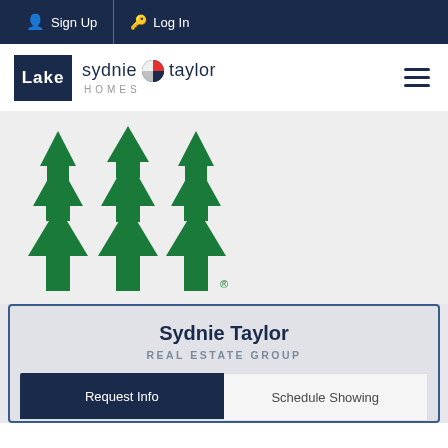Sign Up  Log In
[Figure (logo): Lake Sydnie Taylor Homes logo with Lake box and circular brand icon]
[Figure (logo): Green triple-arrow tree logo with registered trademark symbol]
Sydnie Taylor
REAL ESTATE GROUP
Request Info
Schedule Showing